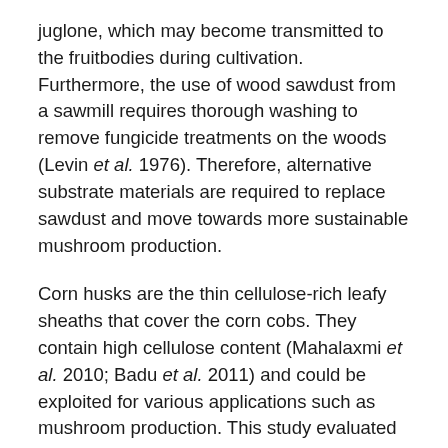juglone, which may become transmitted to the fruitbodies during cultivation. Furthermore, the use of wood sawdust from a sawmill requires thorough washing to remove fungicide treatments on the woods (Levin et al. 1976). Therefore, alternative substrate materials are required to replace sawdust and move towards more sustainable mushroom production.
Corn husks are the thin cellulose-rich leafy sheaths that cover the corn cobs. They contain high cellulose content (Mahalaxmi et al. 2010; Badu et al. 2011) and could be exploited for various applications such as mushroom production. This study evaluated the growth and yield of white oyster mushroom (P. florida) cultivated with gradually increased composition of corn husk over wood sawdust substrates.